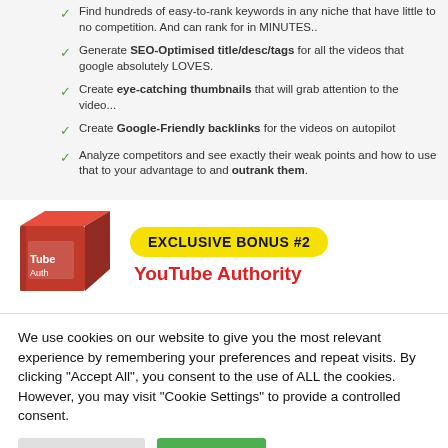Find hundreds of easy-to-rank keywords in any niche that have little to no competition. And can rank for in MINUTES..
Generate SEO-Optimised title/desc/tags for all the videos that google absolutely LOVES.
Create eye-catching thumbnails that will grab attention to the video...
Create Google-Friendly backlinks for the videos on autopilot
Analyze competitors and see exactly their weak points and how to use that to your advantage to and outrank them.
[Figure (illustration): Red product box labeled 'Tube' with 'EXCLUSIVE BONUS #2' badge and 'YouTube Authority' text]
We use cookies on our website to give you the most relevant experience by remembering your preferences and repeat visits. By clicking "Accept All", you consent to the use of ALL the cookies. However, you may visit "Cookie Settings" to provide a controlled consent.
Cookie Settings | Accept All